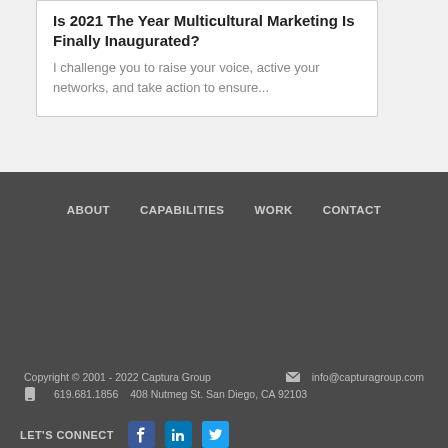Is 2021 The Year Multicultural Marketing Is Finally Inaugurated?
I challenge you to raise your voice, active your networks, and take action to ensure...
ABOUT   CAPABILITIES   WORK   CONTACT
Copyright © 2001 - 2022 Captura Group   info@capturagroup.com   619.681.1856   408 Nutmeg St. San Diego, CA 92103
LET'S CONNECT